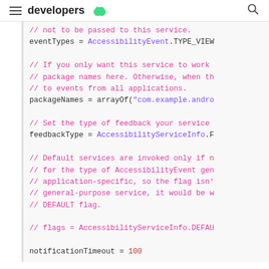developers [android logo]
[Figure (screenshot): Android developer documentation page showing a Kotlin/Java code snippet for accessibility service configuration. Code includes eventTypes, packageNames, feedbackType, flags, and notificationTimeout assignments with comments explaining each.]